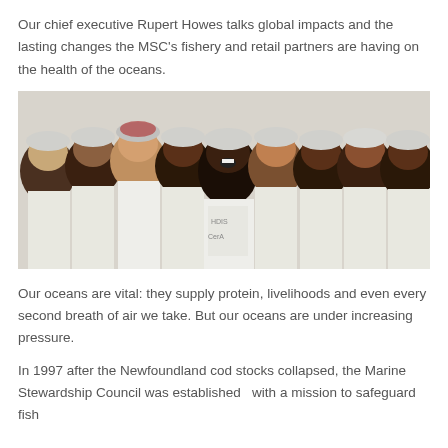Our chief executive Rupert Howes talks global impacts and the lasting changes the MSC's fishery and retail partners are having on the health of the oceans.
[Figure (photo): Group photo of workers in white coats and hair nets, smiling and laughing in what appears to be a food processing facility.]
Our oceans are vital: they supply protein, livelihoods and even every second breath of air we take. But our oceans are under increasing pressure.
In 1997 after the Newfoundland cod stocks collapsed, the Marine Stewardship Council was established  with a mission to safeguard fish